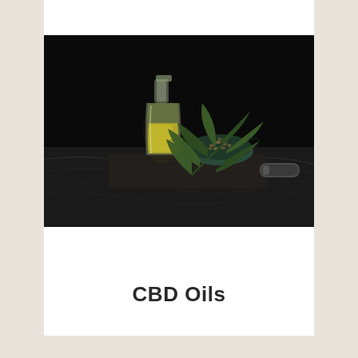[Figure (photo): Dark-background product photo showing a glass bottle/carafe filled with green-yellow oil, a dark green ceramic bowl filled with hemp seeds, cannabis/hemp leaves spread across a dark wooden cutting board, and what appears to be a small roller or tool. Dark marble/stone surface.]
CBD Oils